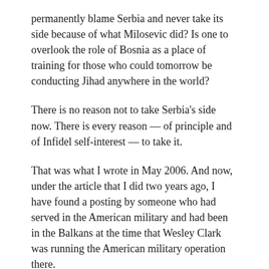permanently blame Serbia and never take its side because of what Milosevic did? Is one to overlook the role of Bosnia as a place of training for those who could tomorrow be conducting Jihad anywhere in the world?
There is no reason not to take Serbia's side now. There is every reason — of principle and of Infidel self-interest — to take it.
That was what I wrote in May 2006. And now, under the article that I did two years ago, I have found a posting by someone who had served in the American military and had been in the Balkans at the time that Wesley Clark was running the American military operation there.
His comment is also worth reproducing: